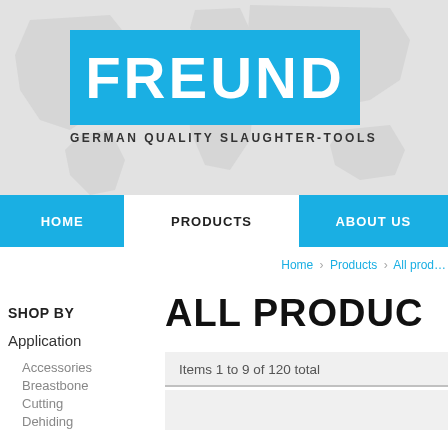[Figure (logo): FREUND logo — blue rectangle with white bold FREUND text, tagline GERMAN QUALITY SLAUGHTER-TOOLS below, on world map background]
HOME | PRODUCTS | ABOUT US
Home › Products › All prod…
SHOP BY
Application
Accessories
Breastbone
Cutting
Dehiding
ALL PRODUC…
Items 1 to 9 of 120 total